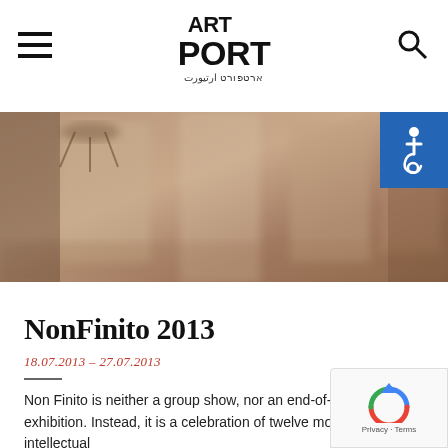ART PORT (artport logo with Hebrew text)
[Figure (photo): Blurred interior gallery/room photograph with warm brown tones, chandelier visible in upper left]
NonFinito 2013
18.07.2013 – 27.07.2013
Non Finito is neither a group show, nor an end-of-year exhibition. Instead, it is a celebration of twelve months of intellectual
Read more →